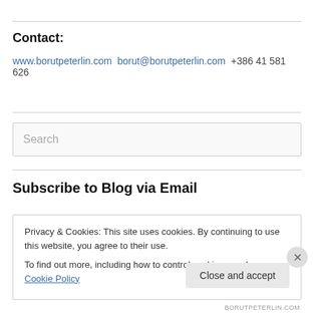Contact:
www.borutpeterlin.com borut@borutpeterlin.com +386 41 581 626
[Figure (other): Search input box with placeholder text 'Search']
Subscribe to Blog via Email
Privacy & Cookies: This site uses cookies. By continuing to use this website, you agree to their use.
To find out more, including how to control cookies, see here: Cookie Policy
Close and accept
BORUTPETERLIN.COM